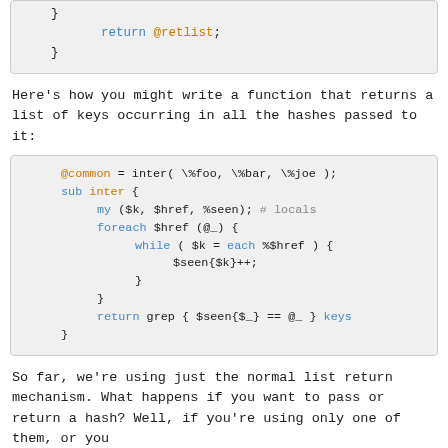[Figure (screenshot): Top partial code block showing closing braces and 'return @retlist;']
Here's how you might write a function that returns a list of keys occurring in all the hashes passed to it:
[Figure (screenshot): Code block showing Perl inter() function with @common, sub inter, foreach, while, $seen, return grep statements]
So far, we're using just the normal list return mechanism. What happens if you want to pass or return a hash? Well, if you're using only one of them, or you